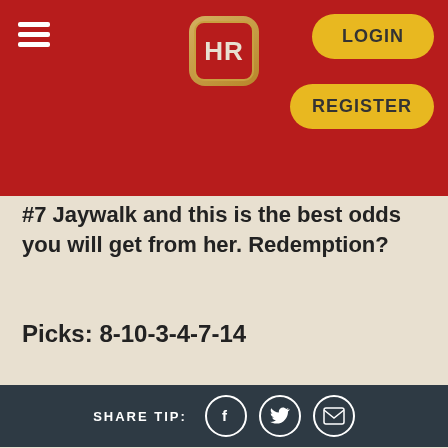HR logo with LOGIN and REGISTER buttons
#7 Jaywalk and this is the best odds you will get from her. Redemption?
Picks: 8-10-3-4-7-14
SHARE TIP: